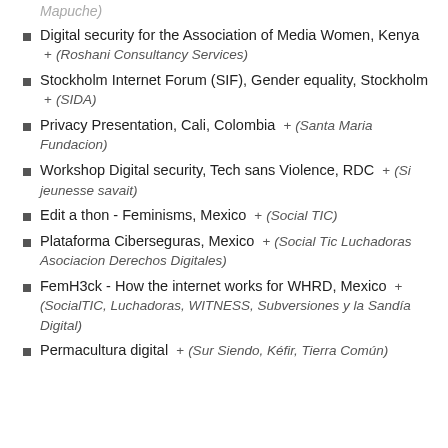Mapuche)
Digital security for the Association of Media Women, Kenya + (Roshani Consultancy Services)
Stockholm Internet Forum (SIF), Gender equality, Stockholm + (SIDA)
Privacy Presentation, Cali, Colombia + (Santa Maria Fundacion)
Workshop Digital security, Tech sans Violence, RDC + (Si jeunesse savait)
Edit a thon - Feminisms, Mexico + (Social TIC)
Plataforma Ciberseguras, Mexico + (Social Tic Luchadoras Asociacion Derechos Digitales)
FemH3ck - How the internet works for WHRD, Mexico + (SocialTIC, Luchadoras, WITNESS, Subversiones y la Sandía Digital)
Permacultura digital + (Sur Siendo, Kéfir, Tierra Común)